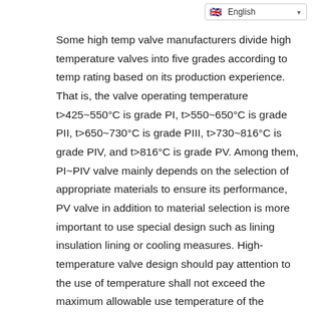English
Some high temp valve manufacturers divide high temperature valves into five grades according to temp rating based on its production experience. That is, the valve operating temperature t>425~550°C is grade PI, t>550~650°C is grade PII, t>650~730°C is grade PIII, t>730~816°C is grade PIV, and t>816°C is grade PV. Among them, PI~PIV valve mainly depends on the selection of appropriate materials to ensure its performance, PV valve in addition to material selection is more important to use special design such as lining insulation lining or cooling measures. High-temperature valve design should pay attention to the use of temperature shall not exceed the maximum allowable use temperature of the material. According to ASMEB31.3, the maximum temperature of common high-temperature valve materials is shown in the following table. Special note is that in the actual design of the valve also consider